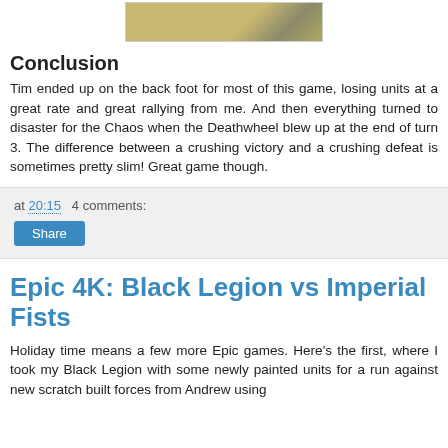[Figure (photo): Partial view of a game board or terrain photo, yellowish/sandy coloring with a gray diagonal element.]
Conclusion
Tim ended up on the back foot for most of this game, losing units at a great rate and great rallying from me. And then everything turned to disaster for the Chaos when the Deathwheel blew up at the end of turn 3. The difference between a crushing victory and a crushing defeat is sometimes pretty slim! Great game though.
at 20:15   4 comments:
Share
Epic 4K: Black Legion vs Imperial Fists
Holiday time means a few more Epic games. Here's the first, where I took my Black Legion with some newly painted units for a run against new scratch built forces from Andrew using